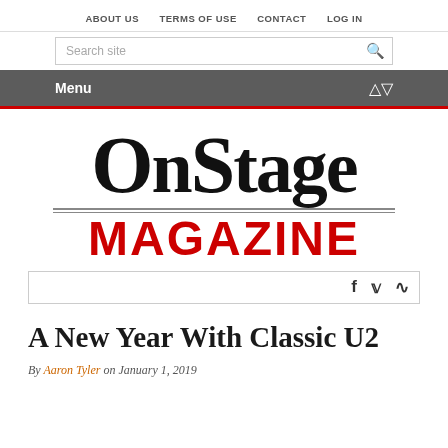ABOUT US   TERMS OF USE   CONTACT   LOG IN
Search site
Menu
[Figure (logo): OnStage Magazine logo with large serif black text 'OnStage' above two horizontal lines and bold red sans-serif text 'MAGAZINE' below]
f  twitter  rss
A New Year With Classic U2
By Aaron Tyler on January 1, 2019